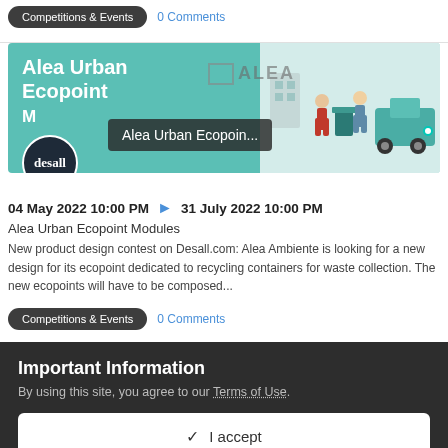Competitions & Events   0 Comments
[Figure (illustration): Alea Urban Ecopoint Modules banner with teal background, ALEA logo, illustration of people with recycling containers, and desall avatar. Tooltip overlay reads 'Alea Urban Ecopoin...']
04 May 2022 10:00 PM → 31 July 2022 10:00 PM
Alea Urban Ecopoint Modules
New product design contest on Desall.com: Alea Ambiente is looking for a new design for its ecopoint dedicated to recycling containers for waste collection. The new ecopoints will have to be composed...
Competitions & Events   0 Comments
Important Information
By using this site, you agree to our Terms of Use.
✓  I accept